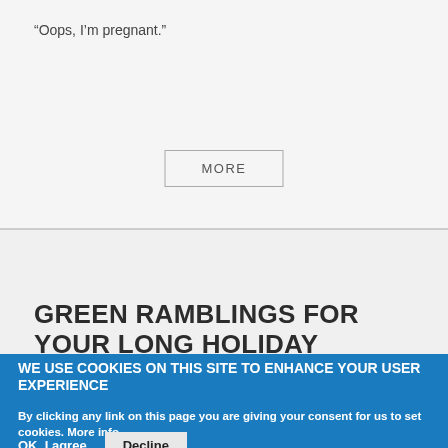“Oops, I’m pregnant.”
MORE
GREEN RAMBLINGS FOR YOUR LONG HOLIDAY
Type of content: Blog
Is it just me, or is the word “green” approaching it’s sell by
WE USE COOKIES ON THIS SITE TO ENHANCE YOUR USER EXPERIENCE
By clicking any link on this page you are giving your consent for us to set cookies. More info
OK, I agree  Decline